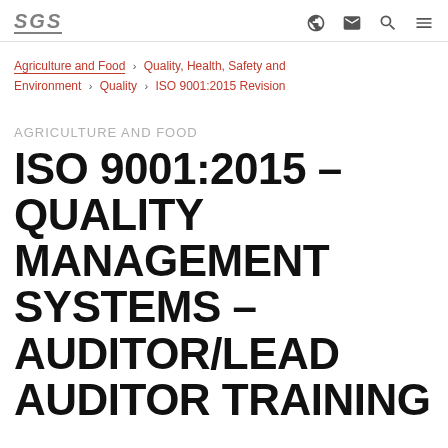SGS
Agriculture and Food › Quality, Health, Safety and Environment › Quality › ISO 9001:2015 Revision
AGRICULTURE AND FOOD
ISO 9001:2015 – QUALITY MANAGEMENT SYSTEMS – AUDITOR/LEAD AUDITOR TRAINING